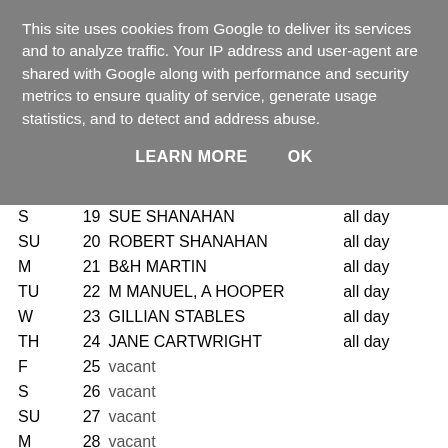This site uses cookies from Google to deliver its services and to analyze traffic. Your IP address and user-agent are shared with Google along with performance and security metrics to ensure quality of service, generate usage statistics, and to detect and address abuse.
LEARN MORE    OK
Gervase cannot attend on this day only.
| Day | Date | Name | Time |
| --- | --- | --- | --- |
| S | 19 | SUE SHANAHAN | all day |
| SU | 20 | ROBERT SHANAHAN | all day |
| M | 21 | B&H MARTIN | all day |
| TU | 22 | M MANUEL, A HOOPER | all day |
| W | 23 | GILLIAN STABLES | all day |
| TH | 24 | JANE CARTWRIGHT | all day |
| F | 25 | vacant |  |
| S | 26 | vacant |  |
| SU | 27 | vacant |  |
| M | 28 | vacant |  |
| TU | 29 | M MANUEL, A HOOPER | all day |
| W | 30 | GILLIAN STABLES | all day |
| TH | 31 | JANE CARTWRIGHT | all day |